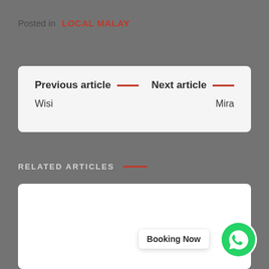Posted in  LOCAL MALAY
Previous article  —  Wisi
Next article  —  Mira
RELATED ARTICLES
[Figure (other): WhatsApp booking button with green WhatsApp icon and 'Booking Now' label]
Booking Now